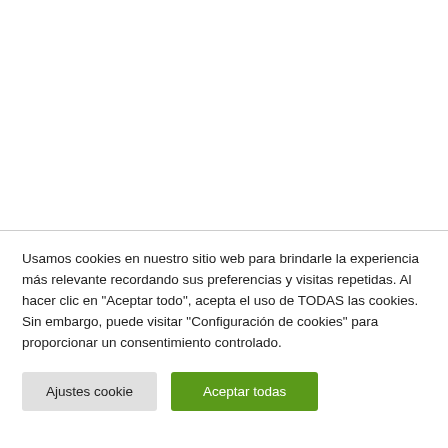[Figure (other): White blank area at the top of the page, separated by a horizontal line from the cookie consent notice below.]
Usamos cookies en nuestro sitio web para brindarle la experiencia más relevante recordando sus preferencias y visitas repetidas. Al hacer clic en "Aceptar todo", acepta el uso de TODAS las cookies. Sin embargo, puede visitar "Configuración de cookies" para proporcionar un consentimiento controlado.
Ajustes cookie
Aceptar todas